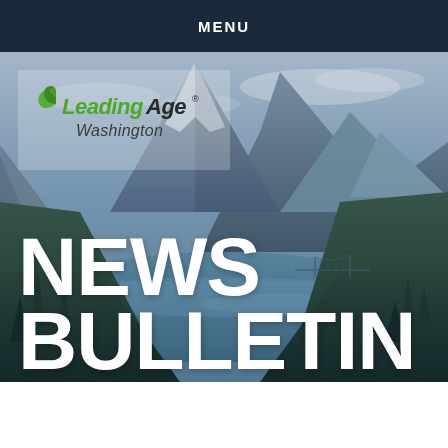MENU
[Figure (photo): Scenic mountain landscape with snow-capped peaks, a suspension bridge, forested slopes, and a blue-green lake or river valley below. The LeadingAge Washington logo is overlaid in the upper left area of the image, and large white bold text reading NEWS BULLETIN appears in the lower left.]
NEWS BULLETIN